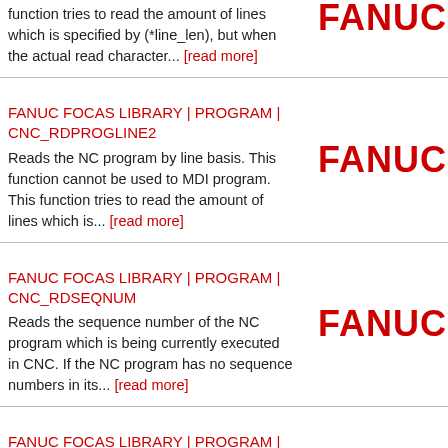function tries to read the amount of lines which is specified by (*line_len), but when the actual read character... [read more]
[Figure (logo): FANUC logo (partially visible at top, red bold text)]
FANUC FOCAS LIBRARY | PROGRAM | CNC_RDPROGLINE2
Reads the NC program by line basis. This function cannot be used to MDI program. This function tries to read the amount of lines which is... [read more]
[Figure (logo): FANUC logo in red bold text]
FANUC FOCAS LIBRARY | PROGRAM | CNC_RDSEQNUM
Reads the sequence number of the NC program which is being currently executed in CNC. If the NC program has no sequence numbers in its... [read more]
[Figure (logo): FANUC logo in red bold text]
FANUC FOCAS LIBRARY | PROGRAM | CNC_RENAMEPROG
Changes the program number.... [read more]
[Figure (logo): FANUC logo in red bold text]